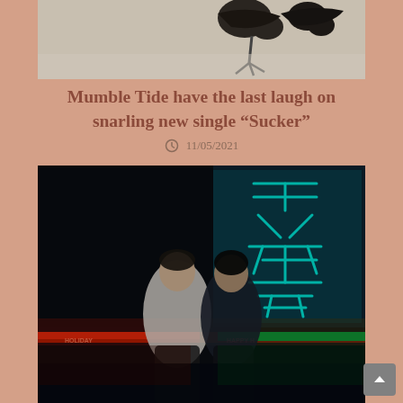[Figure (photo): Partial view of a bird or animal on a light-colored floor surface, top portion cropped]
Mumble Tide have the last laugh on snarling new single “Sucker”
11/05/2021
[Figure (photo): Two people (a band duo) sitting in front of illuminated neon Chinese characters signage in a dark venue with red and green lighting strips]